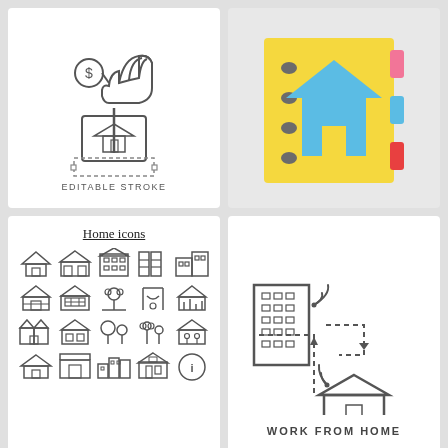[Figure (illustration): Line art icon of a hand holding coins above a real estate for-sale sign with a house symbol. Below the sign is a dashed rectangle with small square handles indicating editable stroke.]
EDITABLE STROKE
[Figure (illustration): Flat design icon of a yellow address book/notebook with ring binding on the left, a blue house silhouette in the center, and colored tab markers (pink, blue, red) on the right edge.]
[Figure (illustration): Grid of 20 outline home/building icons labeled 'Home icons', arranged in 4 rows of 5. Includes various house styles, apartment buildings, garage, house with garden, playground, etc.]
Home icons
[Figure (illustration): Work from home concept icon showing an office building with WiFi signals connected by dashed arrows to a house with WiFi signals, arrows indicating data flow between them.]
WORK FROM HOME
[Figure (illustration): Partial view of a row of construction/tools outline icons including a worker with helmet, a truck, a printer, and a bar chart icon.]